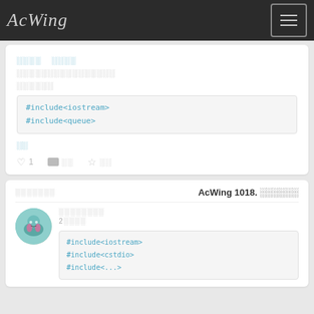AcWing
░░░░ ░░░░
░░░░░░░░░░░░░░░░
░░░░░░
#include<iostream>
#include<queue>
░░
1
░░
░░
░░░░░░░ AcWing 1018. ░░░░░░
░░░░░░░░
2░░░░
#include<iostream>
#include<cstdio>
#include<...